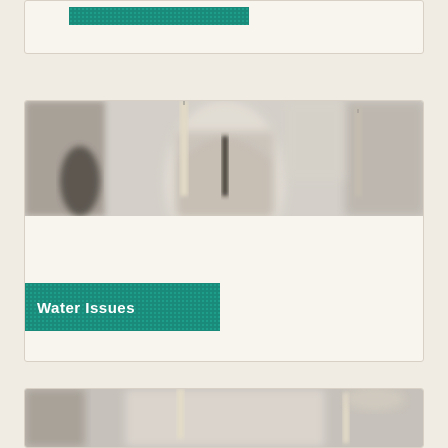[Figure (other): Top card with teal dotted tag/button element, partial view of a card UI component]
[Figure (photo): Church interior with tall white candles in foreground and blurred gothic arch in background]
Water Issues
[Figure (photo): Church interior with candles, partial view at bottom of page]